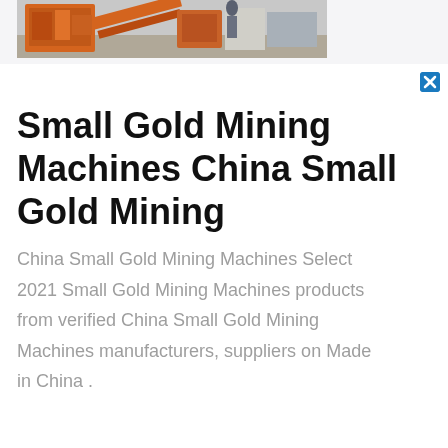[Figure (photo): Photo of orange/red small gold mining machine equipment on a gravel surface, partially cropped at top of page]
Small Gold Mining Machines China Small Gold Mining
China Small Gold Mining Machines Select 2021 Small Gold Mining Machines products from verified China Small Gold Mining Machines manufacturers, suppliers on Made in China .